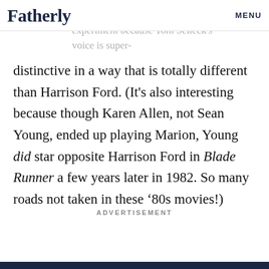Fatherly  MENU
hile and is relevant to this thought experiment because Tom Selleck's voice is super-distinctive in a way that is totally different than Harrison Ford. (It's also interesting because though Karen Allen, not Sean Young, ended up playing Marion, Young did star opposite Harrison Ford in Blade Runner a few years later in 1982. So many roads not taken in these ‘80s movies!)
ADVERTISEMENT